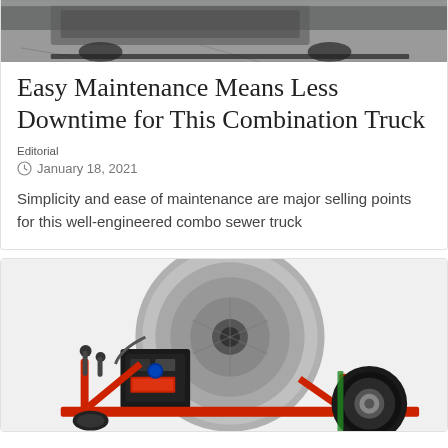[Figure (photo): Partial top image of a combination truck, cropped showing the vehicle from above/front angle on pavement]
Easy Maintenance Means Less Downtime for This Combination Truck
Editorial
January 18, 2021
Simplicity and ease of maintenance are major selling points for this well-engineered combo sewer truck
[Figure (photo): A sewer drain cleaning machine with a large grey drum/reel, red frame, black engine, and large black rubber wheel on the right side]